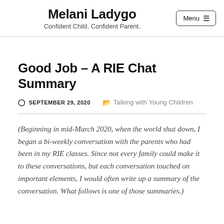Melani Ladygo — Confident Child. Confident Parent.
Good Job – A RIE Chat Summary
SEPTEMBER 29, 2020   Talking with Young Children
(Beginning in mid-March 2020, when the world shut down, I began a bi-weekly conversation with the parents who had been in my RIE classes. Since not every family could make it to these conversations, but each conversation touched on important elements, I would often write up a summary of the conversation. What follows is one of those summaries.)